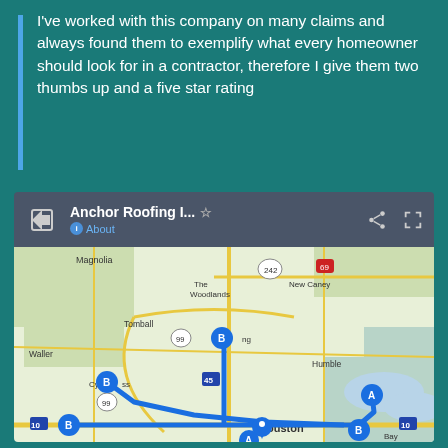I've worked with this company on many claims and always found them to exemplify what every homeowner should look for in a contractor, therefore I give them two thumbs up and a five star rating
[Figure (map): Google Maps screenshot showing Anchor Roofing location with route markers A and B around the Houston, TX area including Magnolia, The Woodlands, New Caney, Tomball, Waller, Cypress, Humble, and Houston. Blue route lines connect multiple B markers to location A.]